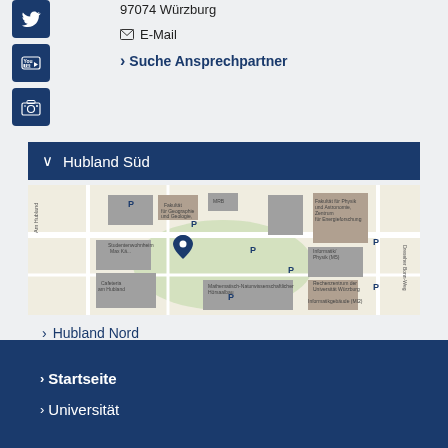[Figure (illustration): Twitter social media icon - white bird on dark blue square button]
[Figure (illustration): YouTube social media icon - white YouTube logo on dark blue square button]
[Figure (illustration): Camera/photo social media icon - white camera on dark blue square button]
97074 Würzburg
E-Mail
Suche Ansprechpartner
Hubland Süd
[Figure (map): Campus map of Hubland Süd showing university buildings, parking areas, roads, and a blue location pin marker]
Hubland Nord
Startseite
Universität